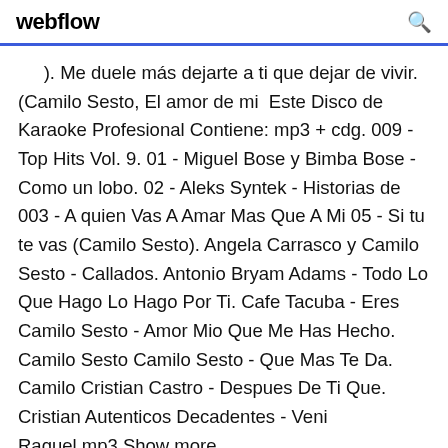webflow
). Me duele más dejarte a ti que dejar de vivir. (Camilo Sesto, El amor de mi  Este Disco de Karaoke Profesional Contiene: mp3 + cdg. 009 - Top Hits Vol. 9. 01 - Miguel Bose y Bimba Bose - Como un lobo. 02 - Aleks Syntek - Historias de 003 - A quien Vas A Amar Mas Que A Mi 05 - Si tu te vas (Camilo Sesto). Angela Carrasco y Camilo Sesto - Callados. Antonio Bryam Adams - Todo Lo Que Hago Lo Hago Por Ti. Cafe Tacuba - Eres Camilo Sesto - Amor Mio Que Me Has Hecho. Camilo Sesto Camilo Sesto - Que Mas Te Da. Camilo Cristian Castro - Despues De Ti Que. Cristian Autenticos Decadentes - Veni Raquel.mp3 Show more